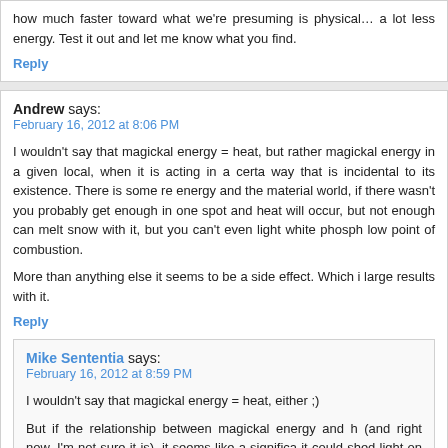how much faster toward what we're presuming is physical… a lot less energy. Test it out and let me know what you find.
Reply
Andrew says:
February 16, 2012 at 8:06 PM
I wouldn't say that magickal energy = heat, but rather magickal energy in a given local, when it is acting in a certain way that is incidental to its existence. There is some re energy and the material world, if there wasn't you probably get enough in one spot and heat will occur, but not enough can melt snow with it, but you can't even light white phosph low point of combustion.
More than anything else it seems to be a side effect. Which i large results with it.
Reply
Mike Sententia says:
February 16, 2012 at 8:59 PM
I wouldn't say that magickal energy = heat, either ;)
But if the relationship between magickal energy and h (and right now, I'm not sure it is), it seems like a significa it could shed light on how magick interacts with the ph where that investigation leads.